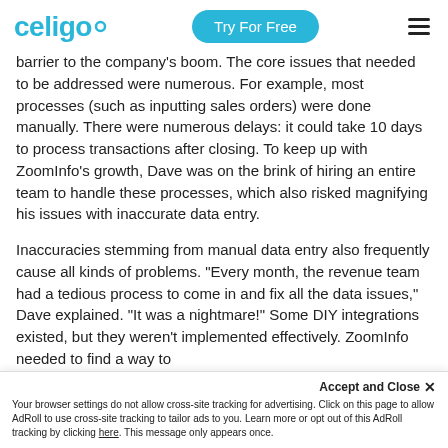celigo | Try For Free
barrier to the company's boom. The core issues that needed to be addressed were numerous. For example, most processes (such as inputting sales orders) were done manually. There were numerous delays: it could take 10 days to process transactions after closing. To keep up with ZoomInfo's growth, Dave was on the brink of hiring an entire team to handle these processes, which also risked magnifying his issues with inaccurate data entry.
Inaccuracies stemming from manual data entry also frequently cause all kinds of problems. "Every month, the revenue team had a tedious process to come in and fix all the data issues," Dave explained. "It was a nightmare!" Some DIY integrations existed, but they weren't implemented effectively. ZoomInfo needed to find a way to
Accept and Close ✕
Your browser settings do not allow cross-site tracking for advertising. Click on this page to allow AdRoll to use cross-site tracking to tailor ads to you. Learn more or opt out of this AdRoll tracking by clicking here. This message only appears once.